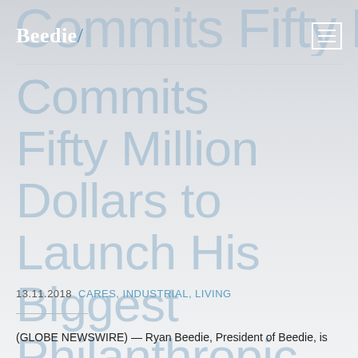Beedie [logo with hamburger menu]
Commits Fifty Million Dollars to Launch His Biggest Philanthropic Endeavour Supporting Promising BC Students
13.11.2018   CARES, INDUSTRIAL, LIVING
(GLOBE NEWSWIRE) — Ryan Beedie, President of Beedie, is